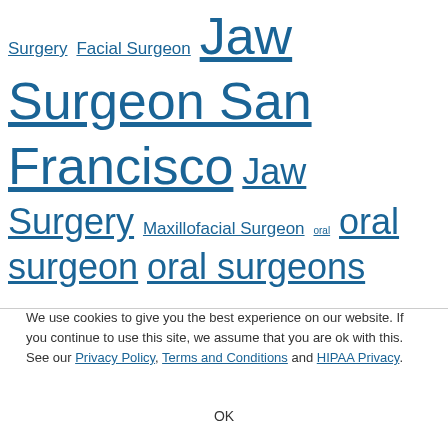Surgery Facial Surgeon Jaw Surgeon San Francisco Jaw Surgery Maxillofacial Surgeon oral oral surgeon oral surgeons Oral Surgery Oral Surgery Cost Orthognathic Surgeon San Francisco San Francisco San Francisco Bay Area San Francisco Dental Implant San Francisco jaw surgery San Francisco oral surgeon San Francisco sleep apnea surgery Sleep Apnea Sleep Apnea Surgery San Francisco TMJ Specialist Top Oral Surgeon Wisdom Teeth Wisdom Teeth Extraction San Francisco wisdom teeth
We use cookies to give you the best experience on our website. If you continue to use this site, we assume that you are ok with this. See our Privacy Policy, Terms and Conditions and HIPAA Privacy.
OK